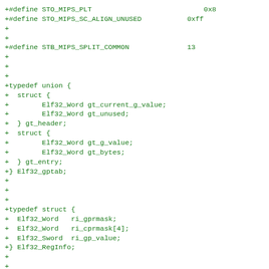+#define STO_MIPS_PLT                           0x8
+#define STO_MIPS_SC_ALIGN_UNUSED           0xff
+
+
+#define STB_MIPS_SPLIT_COMMON              13
+
+
+
+typedef union {
+  struct {
+        Elf32_Word gt_current_g_value;
+        Elf32_Word gt_unused;
+  } gt_header;
+  struct {
+        Elf32_Word gt_g_value;
+        Elf32_Word gt_bytes;
+  } gt_entry;
+} Elf32_gptab;
+
+
+
+typedef struct {
+  Elf32_Word   ri_gprmask;
+  Elf32_Word   ri_cprmask[4];
+  Elf32_Sword  ri_gp_value;
+} Elf32_RegInfo;
+
+
+
+typedef struct {